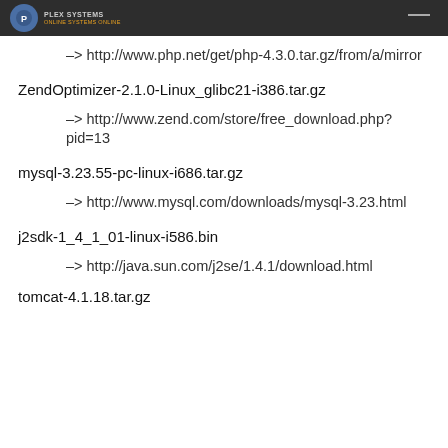PLEX SYSTEMS ONLINE
–> http://www.php.net/get/php-4.3.0.tar.gz/from/a/mirror
ZendOptimizer-2.1.0-Linux_glibc21-i386.tar.gz
–> http://www.zend.com/store/free_download.php?pid=13
mysql-3.23.55-pc-linux-i686.tar.gz
–> http://www.mysql.com/downloads/mysql-3.23.html
j2sdk-1_4_1_01-linux-i586.bin
–> http://java.sun.com/j2se/1.4.1/download.html
tomcat-4.1.18.tar.gz